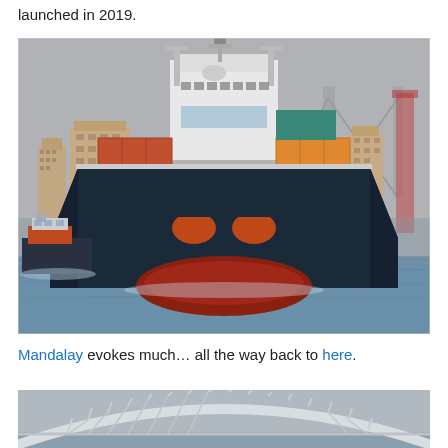launched in 2019.
[Figure (photo): Front bow view of a large container/cargo ship navigating a harbor waterway, with city buildings and a suspension bridge visible in the background. A tugboat is visible to the left. The ship has a dark hull with orange/red lower hull, and white superstructure with cranes and equipment.]
Mandalay evokes much… all the way back to here.
[Figure (photo): Partial view of a large steel arch bridge in hazy/foggy conditions, photographed from water level showing the white latticed arch structure.]